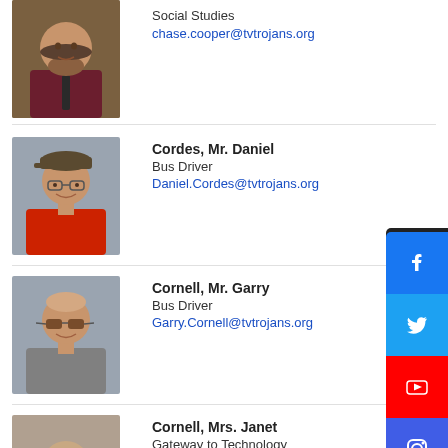[Figure (photo): Staff photo of a young man with beard in maroon shirt and tie]
Social Studies
chase.cooper@tvtrojans.org
[Figure (photo): Staff photo of Cordes, Mr. Daniel – older man in baseball cap and glasses, red shirt]
Cordes, Mr. Daniel
Bus Driver
Daniel.Cordes@tvtrojans.org
[Figure (photo): Staff photo of Cornell, Mr. Garry – older man with sunglasses, gray shirt]
Cornell, Mr. Garry
Bus Driver
Garry.Cornell@tvtrojans.org
[Figure (photo): Partial staff photo of Cornell, Mrs. Janet]
Cornell, Mrs. Janet
Gateway to Technology